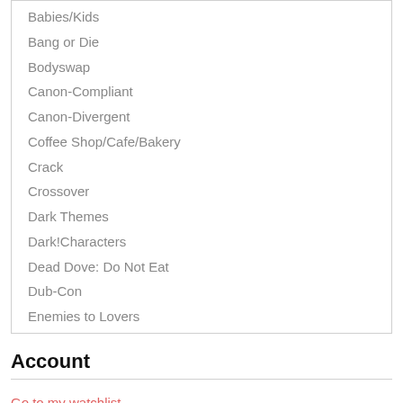Babies/Kids
Bang or Die
Bodyswap
Canon-Compliant
Canon-Divergent
Coffee Shop/Cafe/Bakery
Crack
Crossover
Dark Themes
Dark!Characters
Dead Dove: Do Not Eat
Dub-Con
Enemies to Lovers
Account
Go to my watchlist
View my account
Logout
Search